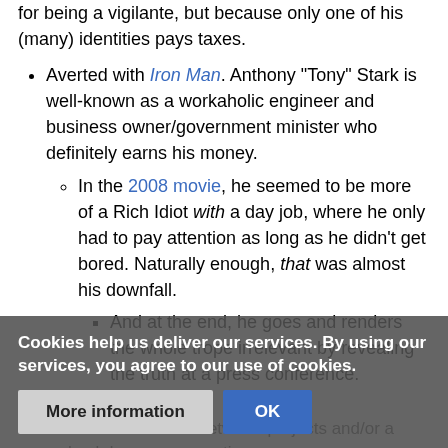for being a vigilante, but because only one of his (many) identities pays taxes.
Averted with Iron Man. Anthony "Tony" Stark is well-known as a workaholic engineer and business owner/government minister who definitely earns his money.
In the 2008 movie, he seemed to be more of a Rich Idiot with a day job, where he only had to pay attention as long as he didn't get bored. Naturally enough, that was almost his downfall.
And at the end, he goes and renders the whole trope irrelevant by revealing the truth at a press conference.
[obscured text about works, but it tends to be between projects and/or a backdrop...]
Cookies help us deliver our services. By using our services, you agree to our use of cookies.